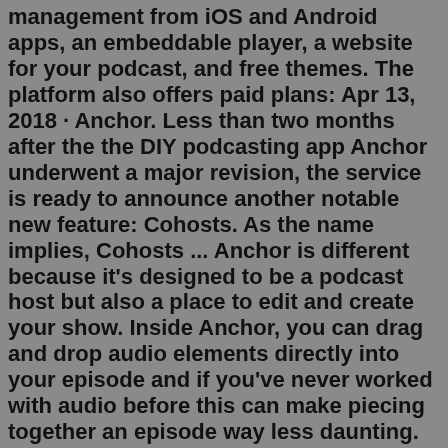management from iOS and Android apps, an embeddable player, a website for your podcast, and free themes. The platform also offers paid plans: Apr 13, 2018 · Anchor. Less than two months after the the DIY podcasting app Anchor underwent a major revision, the service is ready to announce another notable new feature: Cohosts. As the name implies, Cohosts ... Anchor is different because it's designed to be a podcast host but also a place to edit and create your show. Inside Anchor, you can drag and drop audio elements directly into your episode and if you've never worked with audio before this can make piecing together an episode way less daunting. Do you need a podcast host? ReadCompare Anchor and Smart Podcast Player head-to-head across pricing, user satisfaction, and features, using data from actual users. Anchor.fm was founded in 2015 by Michael Mignano and Nir Zicherman as a social audio service for short-form content. Seeing that more and more people from the creator economy are doing podcasts, Anchor went along with the flow and became a site